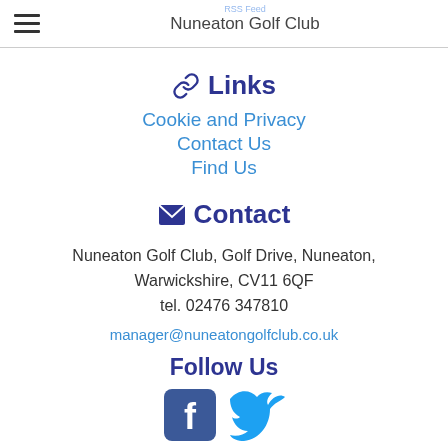Nuneaton Golf Club
Links
Cookie and Privacy
Contact Us
Find Us
Contact
Nuneaton Golf Club, Golf Drive, Nuneaton, Warwickshire, CV11 6QF
tel. 02476 347810
manager@nuneatongolfclub.co.uk
Follow Us
[Figure (logo): Facebook and Twitter social media icons]